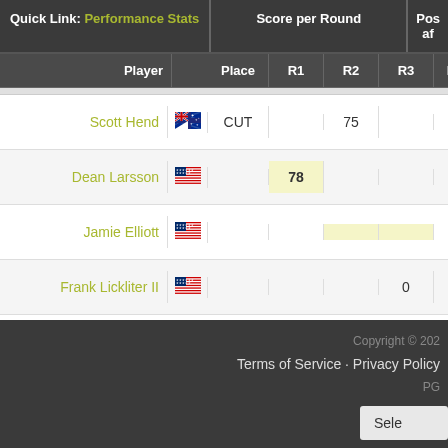| Player |  | Place | R1 | R2 | R3 | R4 | R1 | R |
| --- | --- | --- | --- | --- | --- | --- | --- | --- |
| Scott Hend | AU | CUT |  | 75 |  | 0 | 153 | 1 |
| Dean Larsson | US |  | 78 |  |  | 0 |  | 1 |
| Jamie Elliott | US |  |  |  |  |  | 129 |  |
| Frank Lickliter II | US |  |  |  | 0 |  |  |  |
| Hank Kuehne | US | WD |  | 0 |  |  |  |  |
Copyright © 202 | Terms of Service · Privacy Policy | PG | Sele